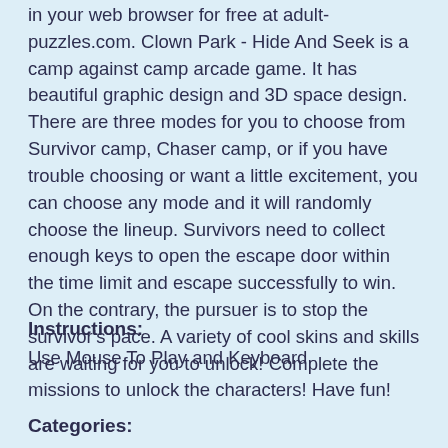in your web browser for free at adult-puzzles.com. Clown Park - Hide And Seek is a camp against camp arcade game. It has beautiful graphic design and 3D space design. There are three modes for you to choose from Survivor camp, Chaser camp, or if you have trouble choosing or want a little excitement, you can choose any mode and it will randomly choose the lineup. Survivors need to collect enough keys to open the escape door within the time limit and escape successfully to win. On the contrary, the pursuer is to stop the survivor's pace. A variety of cool skins and skills are waiting for you to unlock! Complete the missions to unlock the characters! Have fun!
Instructions:
Use Mouse To Play and Keyboard
Categories: